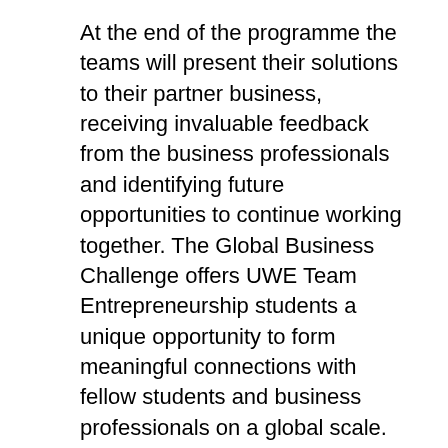At the end of the programme the teams will present their solutions to their partner business, receiving invaluable feedback from the business professionals and identifying future opportunities to continue working together. The Global Business Challenge offers UWE Team Entrepreneurship students a unique opportunity to form meaningful connections with fellow students and business professionals on a global scale. This is the first international collaborative business challenge of this kind that has been established between the partner universities and the team of staff behind the programme are hosting regular virtual meetings to discuss further opportunities.
Within UWE Team Academy, the Global Business Challenge has been supported by Team Coaches Lauren Davies and Valtteri Melkko who are each coaching an international team, in addition to